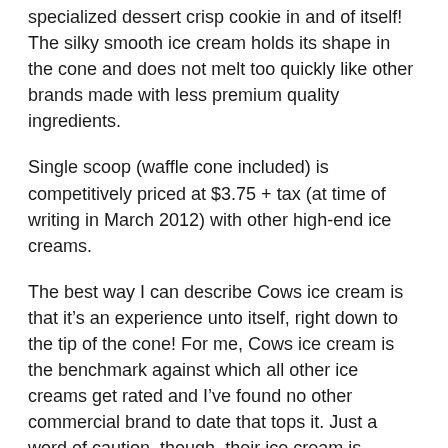specialized dessert crisp cookie in and of itself!  The silky smooth ice cream holds its shape in the cone and does not melt too quickly like other brands made with less premium quality ingredients.
Single scoop (waffle cone included) is competitively priced at $3.75 + tax (at time of writing in March 2012) with other high-end ice creams.
The best way I can describe Cows ice cream is that it’s an experience unto itself, right down to the tip of the cone!  For me, Cows ice cream is the benchmark against which all other ice creams get rated and I’ve found no other commercial brand to date that tops it.  Just a word of caution, though, their ice cream is downright addictive!
Cheddar Cheese